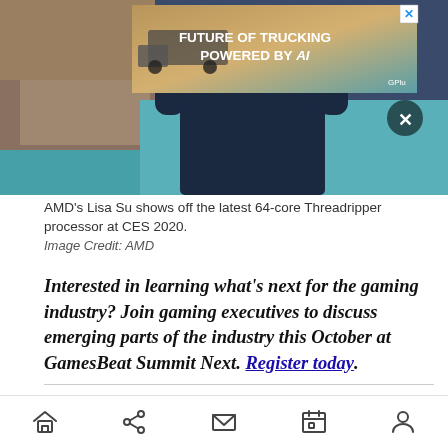[Figure (photo): AMD's Lisa Su at CES 2020 showing off the 64-core Threadripper processor, with an advertisement banner overlay reading 'FUTURE OF TRUCKING POWERED BY AI']
AMD's Lisa Su shows off the latest 64-core Threadripper processor at CES 2020.
Image Credit: AMD
Interested in learning what's next for the gaming industry? Join gaming executives to discuss emerging parts of the industry this October at GamesBeat Summit Next. Register today.
Lisa Su, CEO of Advanced Micro Devices, is on a